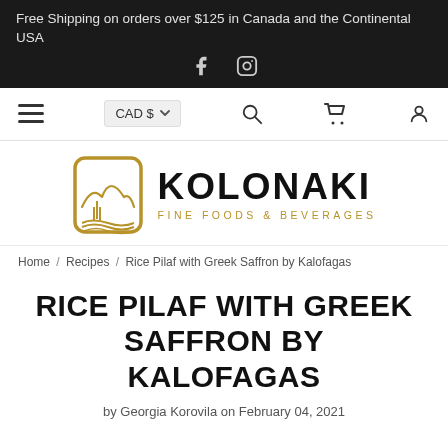Free Shipping on orders over $125 in Canada and the Continental USA
[Figure (other): Social media icons: Facebook and Instagram]
[Figure (other): Navigation bar with hamburger menu, CAD $ currency selector, search icon, cart icon, account icon]
[Figure (logo): Kolonaki Fine Foods & Beverages logo with golden landscape icon and bold black text]
Home / Recipes / Rice Pilaf with Greek Saffron by Kalofagas
RICE PILAF WITH GREEK SAFFRON BY KALOFAGAS
by Georgia Korovila on February 04, 2021